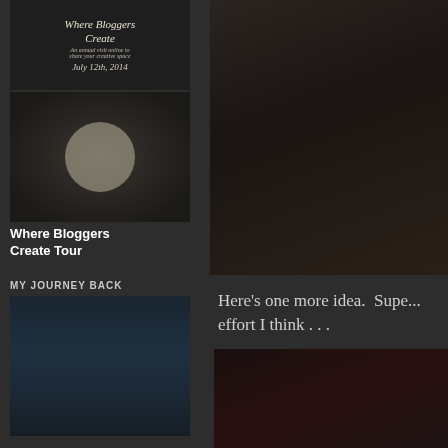[Figure (photo): Blog banner image reading 'Where Bloggers Create' with subtitle and date July 12th, 2014]
[Figure (photo): Craft/clock themed photo with clocks and spools arrangement]
Where Bloggers Create Tour
[Figure (photo): Photo of food - biscotti or bread on dark surface]
MY JOURNEY BACK
[Figure (photo): Ocean/seascape photo with misty dark blue tones]
EVERY KNEE SHALL BOW
[Figure (photo): Small nature/outdoor photo thumbnail at bottom]
Here's one more idea.  Supe... effort I think . . .
[Figure (photo): Close-up photo of red and blue pills/capsules in a pill organizer tray]